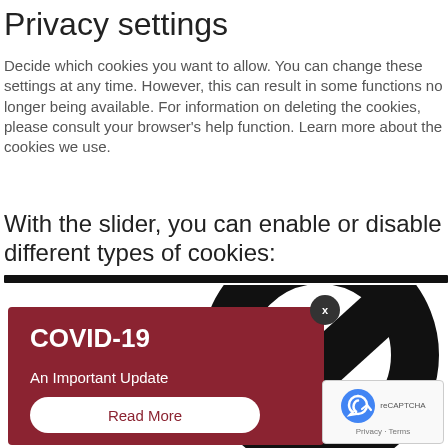Privacy settings
Decide which cookies you want to allow. You can change these settings at any time. However, this can result in some functions no longer being available. For information on deleting the cookies, please consult your browser's help function. Learn more about the cookies we use.
With the slider, you can enable or disable different types of cookies:
[Figure (illustration): A horizontal slider bar (dark/black) followed by a large black no-symbol (circle with diagonal line through it) partially visible]
[Figure (infographic): COVID-19 popup overlay with dark red background, white bold text 'COVID-19', subtitle 'An Important Update', and a white rounded button 'Read More'. A dark circle with 'x' close button in top right of overlay.]
[Figure (logo): Google reCAPTCHA badge bottom-right with recycling-arrow icon and text 'Privacy - Terms']